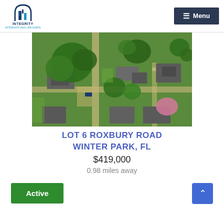INTEGRITY INTERNATIONAL BROKERS — Menu
[Figure (photo): Aerial drone view of a residential neighborhood with green trees, rooftops, lawns, and streets visible from above. The property lot is surrounded by mature trees and neighboring homes.]
LOT 6 ROXBURY ROAD
WINTER PARK, FL
$419,000
0.98 miles away
Active